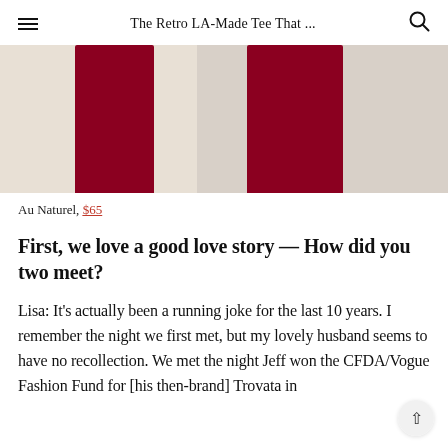The Retro LA-Made Tee That ...
[Figure (photo): Two fashion photos side by side showing red fabric/clothing against a cream/beige background]
Au Naturel, $65
First, we love a good love story — How did you two meet?
Lisa: It's actually been a running joke for the last 10 years. I remember the night we first met, but my lovely husband seems to have no recollection. We met the night Jeff won the CFDA/Vogue Fashion Fund for [his then-brand] Trovata in